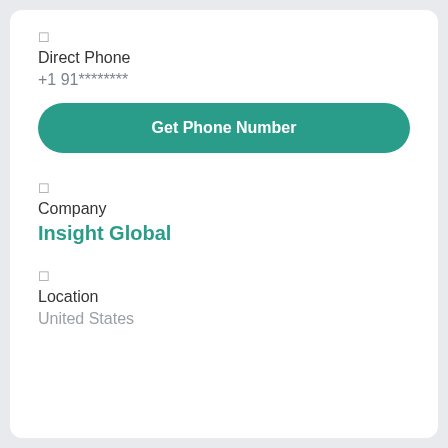□
Direct Phone
+1 91********
Get Phone Number
□
Company
Insight Global
□
Location
United States